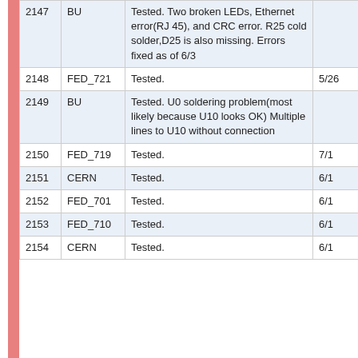|  |  | Notes | Date |
| --- | --- | --- | --- |
| 2147 | BU | Tested. Two broken LEDs, Ethernet error(RJ 45), and CRC error. R25 cold solder,D25 is also missing. Errors fixed as of 6/3 |  |
| 2148 | FED_721 | Tested. | 5/26 |
| 2149 | BU | Tested. U0 soldering problem(most likely because U10 looks OK) Multiple lines to U10 without connection |  |
| 2150 | FED_719 | Tested. | 7/1 |
| 2151 | CERN | Tested. | 6/1 |
| 2152 | FED_701 | Tested. | 6/1 |
| 2153 | FED_710 | Tested. | 6/1 |
| 2154 | CERN | Tested. | 6/1 |